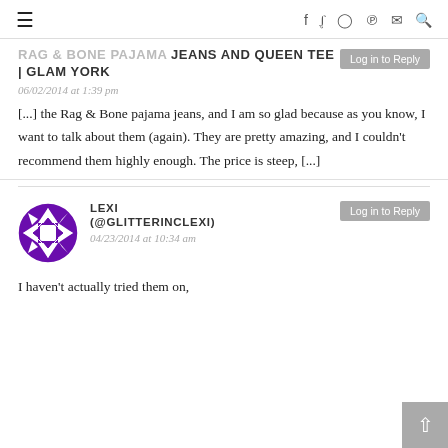≡  f  Twitter  Instagram  Pinterest  Mail  Search
RAG & BONE PAJAMA JEANS AND QUEEN TEE | GLAM YORK
06/02/2014 at 1:39 pm
[...] the Rag & Bone pajama jeans, and I am so glad because as you know, I want to talk about them (again). They are pretty amazing, and I couldn't recommend them highly enough. The price is steep, [...]
LEXI (@GLITTERINCLEXI)
04/23/2014 at 10:34 am
I haven't actually tried them on,